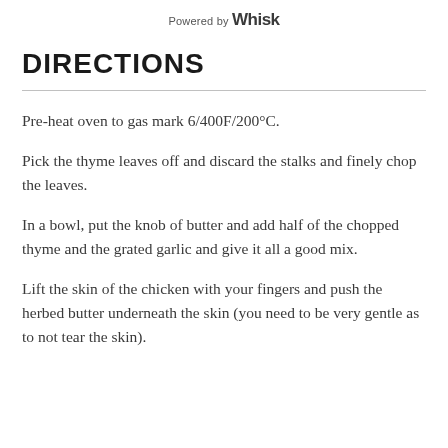Powered by Whisk
DIRECTIONS
Pre-heat oven to gas mark 6/400F/200°C.
Pick the thyme leaves off and discard the stalks and finely chop the leaves.
In a bowl, put the knob of butter and add half of the chopped thyme and the grated garlic and give it all a good mix.
Lift the skin of the chicken with your fingers and push the herbed butter underneath the skin (you need to be very gentle as to not tear the skin).